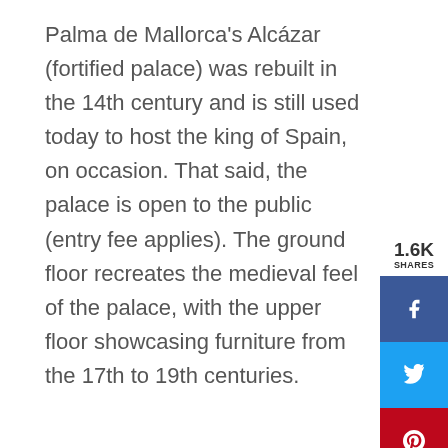Palma de Mallorca's Alcázar (fortified palace) was rebuilt in the 14th century and is still used today to host the king of Spain, on occasion. That said, the palace is open to the public (entry fee applies). The ground floor recreates the medieval feel of the palace, with the upper floor showcasing furniture from the 17th to 19th centuries.
[Figure (infographic): Social share sidebar showing 1.6K shares with buttons for Facebook (blue), Twitter (light blue), Pinterest (red), LinkedIn (dark blue), and Email (green)]